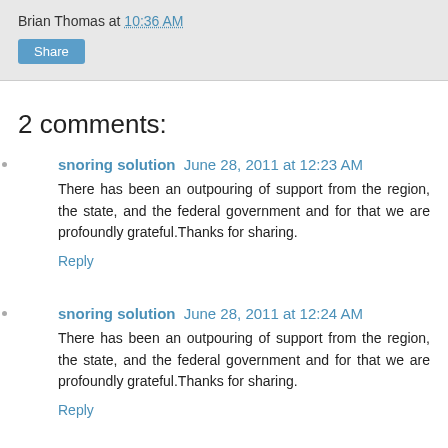Brian Thomas at 10:36 AM
Share
2 comments:
snoring solution June 28, 2011 at 12:23 AM
There has been an outpouring of support from the region, the state, and the federal government and for that we are profoundly grateful.Thanks for sharing.
Reply
snoring solution June 28, 2011 at 12:24 AM
There has been an outpouring of support from the region, the state, and the federal government and for that we are profoundly grateful.Thanks for sharing.
Reply